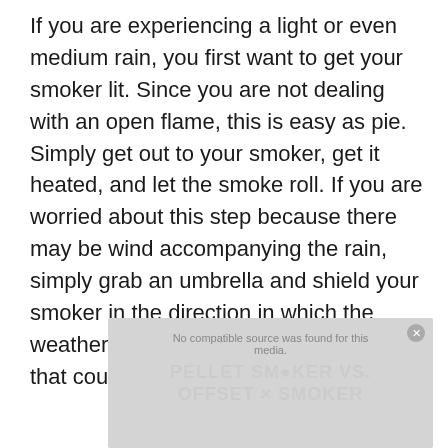If you are experiencing a light or even medium rain, you first want to get your smoker lit. Since you are not dealing with an open flame, this is easy as pie. Simply get out to your smoker, get it heated, and let the smoke roll. If you are worried about this step because there may be wind accompanying the rain, simply grab an umbrella and shield your smoker in the direction in which the weather is coming from. A quick solution that could save you a bit of trouble!
[Figure (screenshot): Video player placeholder showing 'No compatible source was found for this media.' with overlaid text 'PELLET SMOKER VS. OFFSET SMOKER' and a close/dismiss button in the top right corner.]